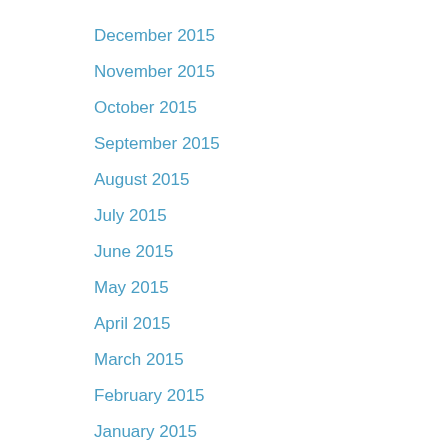December 2015
November 2015
October 2015
September 2015
August 2015
July 2015
June 2015
May 2015
April 2015
March 2015
February 2015
January 2015
December 2014
November 2014
October 2014